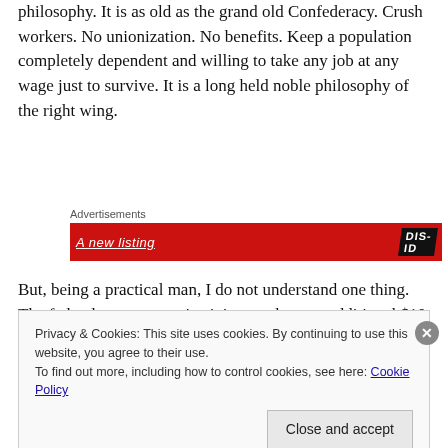philosophy. It is as old as the grand old Confederacy. Crush workers. No unionization. No benefits. Keep a population completely dependent and willing to take any job at any wage just to survive. It is a long held noble philosophy of the right wing.
[Figure (other): Advertisements banner — red background with white italic underlined text and a black skewed logo reading 'DIS-ID']
But, being a practical man, I do not understand one thing. The federal government is giving workers an additional $10 a day. What are they going to do with that extra
Privacy & Cookies: This site uses cookies. By continuing to use this website, you agree to their use.
To find out more, including how to control cookies, see here: Cookie Policy
Close and accept